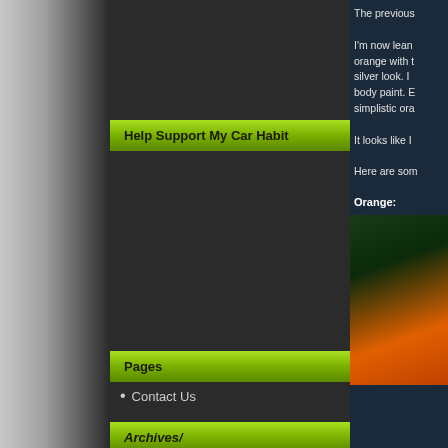Help Support My Car Habit
Pages
Contact Us
Archives/
November 2015
The previous
I'm now lean orange with t silver look. I body paint. E simplistic ora
It looks like I
Here are som
Orange:
[Figure (photo): Orange sports car photographed on road with dark foliage background]